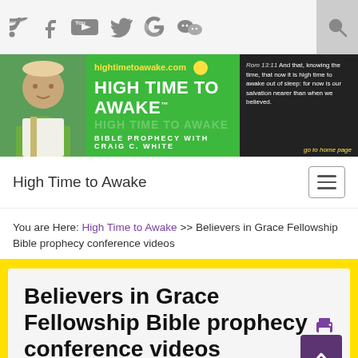[Figure (screenshot): Website header icon bar with RSS, Facebook, YouTube, Twitter, Google, WeChat icons and a zoom icon on the right]
[Figure (screenshot): High Time to Awake website banner with photo of man, website URL hightimetoawake.com, yellow sun icon, site title HIGH TIME TO AWAKE, subtitle BIBLE PROPHECY WITH CRAIG C. WHITE, and Romans 13:11 verse on dark right panel]
High Time to Awake
You are Here: High Time to Awake > > Believers in Grace Fellowship Bible prophecy conference videos
Believers in Grace Fellowship Bible prophecy conference videos